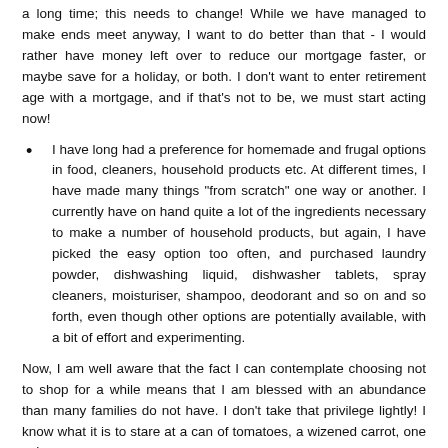a long time; this needs to change! While we have managed to make ends meet anyway, I want to do better than that - I would rather have money left over to reduce our mortgage faster, or maybe save for a holiday, or both. I don't want to enter retirement age with a mortgage, and if that's not to be, we must start acting now!
I have long had a preference for homemade and frugal options in food, cleaners, household products etc. At different times, I have made many things "from scratch" one way or another. I currently have on hand quite a lot of the ingredients necessary to make a number of household products, but again, I have picked the easy option too often, and purchased laundry powder, dishwashing liquid, dishwasher tablets, spray cleaners, moisturiser, shampoo, deodorant and so on and so forth, even though other options are potentially available, with a bit of effort and experimenting.
Now, I am well aware that the fact I can contemplate choosing not to shop for a while means that I am blessed with an abundance than many families do not have. I don't take that privilege lightly! I know what it is to stare at a can of tomatoes, a wizened carrot, one celery